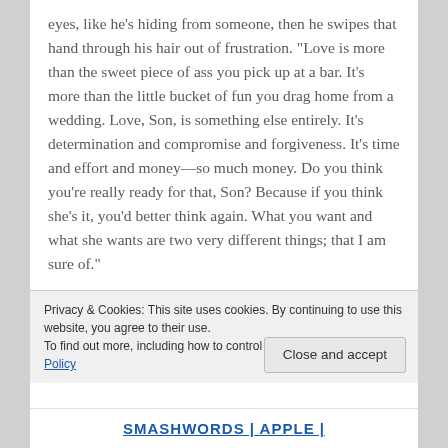eyes, like he's hiding from someone, then he swipes that hand through his hair out of frustration. "Love is more than the sweet piece of ass you pick up at a bar. It's more than the little bucket of fun you drag home from a wedding. Love, Son, is something else entirely. It's determination and compromise and forgiveness. It's time and effort and money—so much money. Do you think you're really ready for that, Son? Because if you think she's it, you'd better think again. What you want and what she wants are two very different things; that I am sure of."
COMING JANUARY 12, 2016!
Privacy & Cookies: This site uses cookies. By continuing to use this website, you agree to their use.
To find out more, including how to control cookies, see here: Cookie Policy
Close and accept
SMASHWORDS | APPLE |